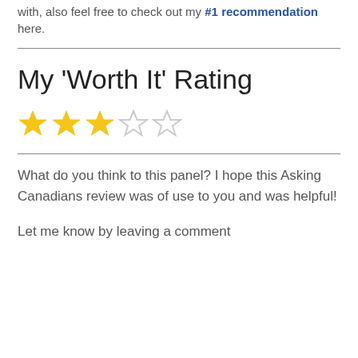with, also feel free to check out my #1 recommendation here.
My 'Worth It' Rating
[Figure (other): Star rating graphic showing 3 out of 5 stars (3 filled gold stars, 2 empty/outline stars)]
What do you think to this panel? I hope this Asking Canadians review was of use to you and was helpful!
Let me know by leaving a comment